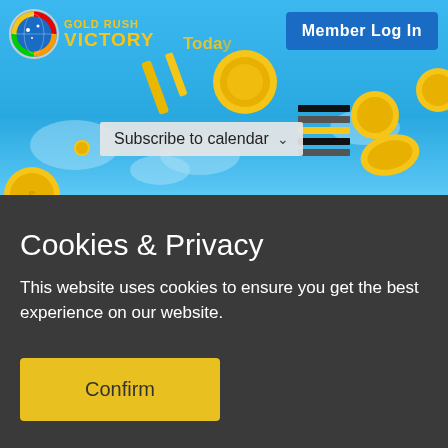[Figure (screenshot): Gold Rush Victory website header with blue sky background, falling gold coins, logo with globe icon, Member Log In button, Today navigation tab, Subscribe to calendar dropdown, and hamburger menu icon]
Cookies & Privacy
This website uses cookies to ensure you get the best experience on our website.
Confirm